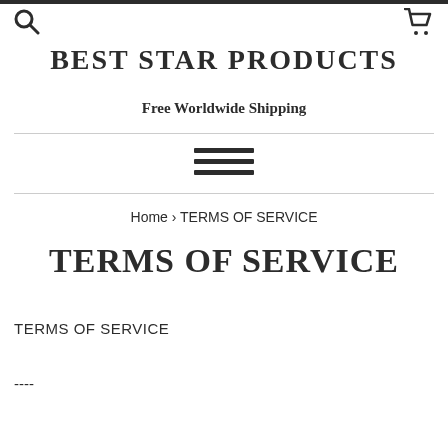BEST STAR PRODUCTS
Free Worldwide Shipping
[Figure (other): Hamburger menu icon with three horizontal lines]
Home › TERMS OF SERVICE
TERMS OF SERVICE
TERMS OF SERVICE
----